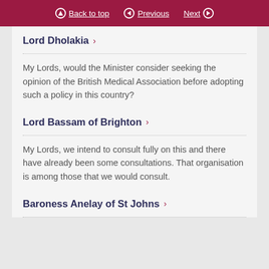Back to top  Previous  Next
Lord Dholakia
My Lords, would the Minister consider seeking the opinion of the British Medical Association before adopting such a policy in this country?
Lord Bassam of Brighton
My Lords, we intend to consult fully on this and there have already been some consultations. That organisation is among those that we would consult.
Baroness Anelay of St Johns